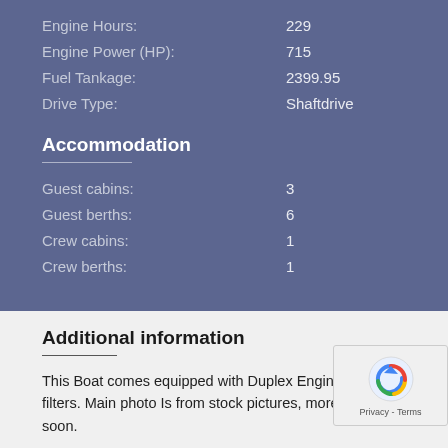Engine Hours: 229
Engine Power (HP): 715
Fuel Tankage: 2399.95
Drive Type: Shaftdrive
Accommodation
Guest cabins: 3
Guest berths: 6
Crew cabins: 1
Crew berths: 1
Additional information
This Boat comes equipped with Duplex Engine Fuel filters. Main photo Is from stock pictures, more coming soon.
Navigation Equipment